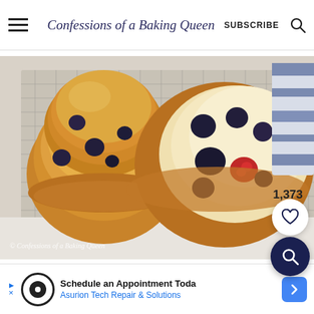Confessions of a Baking Queen | SUBSCRIBE
[Figure (photo): Overhead photo of two blueberry muffins on a wire cooling rack. One muffin is whole, the other is broken open showing blueberries and a raspberry inside. A striped blue-and-white napkin is visible in the upper right. Watermark reads: © Confessions of a Baking Queen. Like count: 1,373.]
1,373
© Confessions of a Baking Queen
Schedule an Appointment Toda
Asurion Tech Repair & Solutions